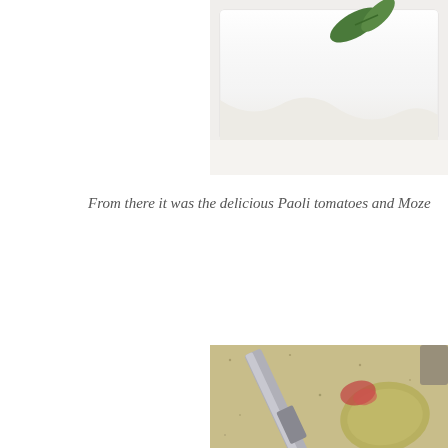[Figure (photo): Close-up photo of sliced white mozzarella cheese with a fresh basil leaf on top, on a white surface]
From there it was the delicious Paoli tomatoes and Moze
[Figure (photo): Close-up photo of a ceramic speckled plate with a knife and what appears to be food (possibly avocado or mozzarella) with red tomato remnants]